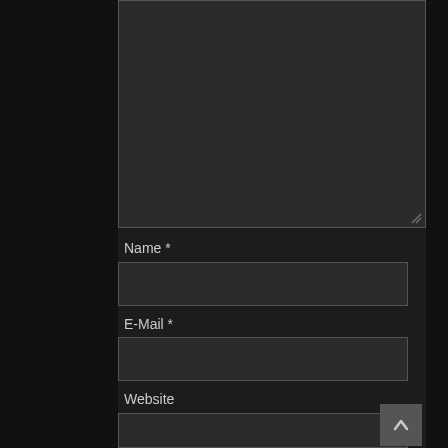[Figure (screenshot): Dark-themed web form with a large textarea (top, mostly empty), followed by labeled input fields for Name*, E-Mail*, and Website, a checkbox, and partial text 'Meinen Namen, E-Mail und Website in diesem'. A scroll-to-top button appears at bottom-right.]
Name *
E-Mail *
Website
Meinen Namen, E-Mail und Website in diesem